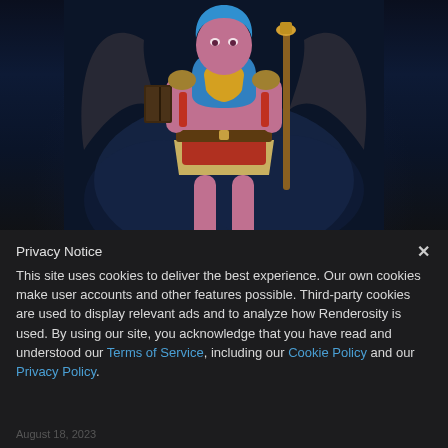[Figure (illustration): 3D rendered fantasy female character with purple/lavender skin, wearing a blue top and beige/red skirt outfit, holding a book and a staff, with dark wings or cape behind her. Background is dark blue with smoky atmosphere.]
Privacy Notice
This site uses cookies to deliver the best experience. Our own cookies make user accounts and other features possible. Third-party cookies are used to display relevant ads and to analyze how Renderosity is used. By using our site, you acknowledge that you have read and understood our Terms of Service, including our Cookie Policy and our Privacy Policy.
August 18, 2023